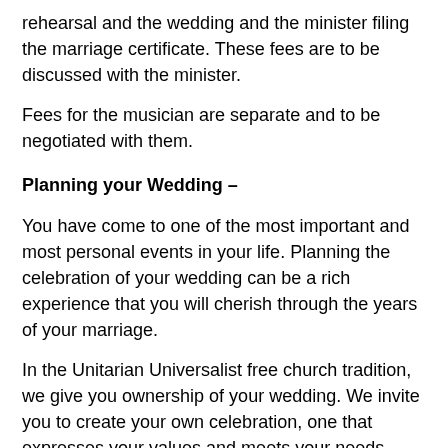rehearsal and the wedding and the minister filing the marriage certificate. These fees are to be discussed with the minister.
Fees for the musician are separate and to be negotiated with them.
Planning your Wedding –
You have come to one of the most important and most personal events in your life. Planning the celebration of your wedding can be a rich experience that you will cherish through the years of your marriage.
In the Unitarian Universalist free church tradition, we give you ownership of your wedding. We invite you to create your own celebration, one that expresses your values and meets your needs. After you been in contact with the church office about the date and building availability and policies and information, the minister will contact you to set up an initial meeting.